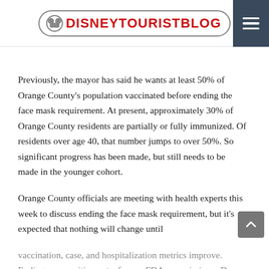DISNEYTOURISTBLOG
Previously, the mayor has said he wants at least 50% of Orange County's population vaccinated before ending the face mask requirement. At present, approximately 30% of Orange County residents are partially or fully immunized. Of residents over age 40, that number jumps to over 50%. So significant progress has been made, but still needs to be made in the younger cohort.
Orange County officials are meeting with health experts this week to discuss ending the face mask requirement, but it's expected that nothing will change until vaccination, case, and hospitalization metrics improve. Ending on a positive note, former FDA commissioner Dr.